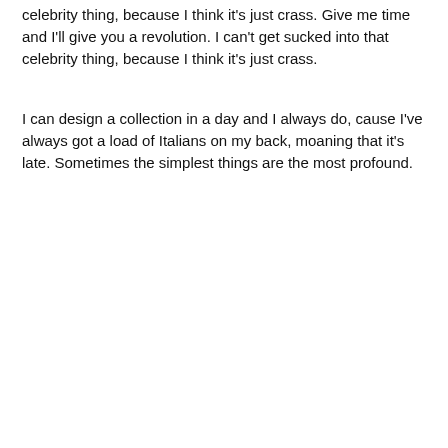celebrity thing, because I think it's just crass. Give me time and I'll give you a revolution. I can't get sucked into that celebrity thing, because I think it's just crass.
I can design a collection in a day and I always do, cause I've always got a load of Italians on my back, moaning that it's late. Sometimes the simplest things are the most profound.